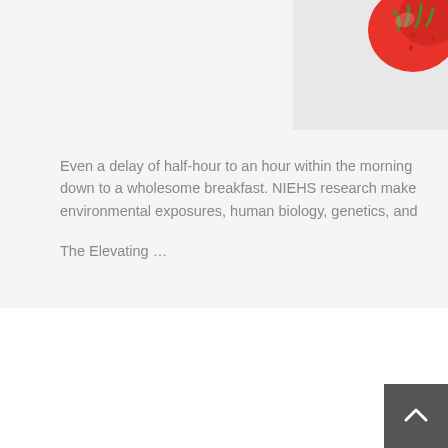[Figure (photo): Partial image of a strawberry in the upper right corner against a light background]
Even a delay of half-hour to an hour within the morning down to a wholesome breakfast. NIEHS research make environmental exposures, human biology, genetics, and
The Elevating …
WHAT ARE THE INHERENT HEALTH BENEFITS AND RISKS
DEC 3, 2021  |  SHAFIRA
| BETTER HEALTH, GENERAL ARTICLE, HEALTH CARE, HEALTH